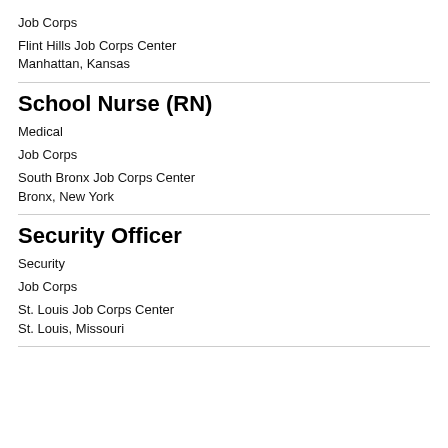Job Corps
Flint Hills Job Corps Center
Manhattan, Kansas
School Nurse (RN)
Medical
Job Corps
South Bronx Job Corps Center
Bronx, New York
Security Officer
Security
Job Corps
St. Louis Job Corps Center
St. Louis, Missouri